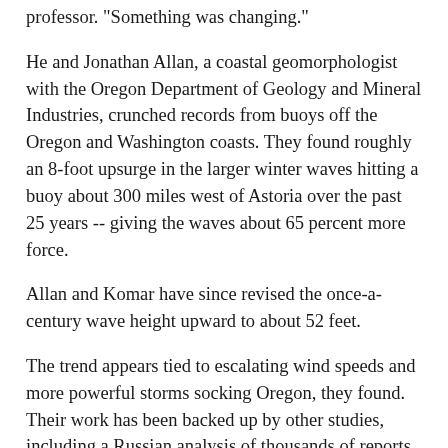professor. "Something was changing."
He and Jonathan Allan, a coastal geomorphologist with the Oregon Department of Geology and Mineral Industries, crunched records from buoys off the Oregon and Washington coasts. They found roughly an 8-foot upsurge in the larger winter waves hitting a buoy about 300 miles west of Astoria over the past 25 years -- giving the waves about 65 percent more force.
Allan and Komar have since revised the once-a-century wave height upward to about 52 feet.
The trend appears tied to escalating wind speeds and more powerful storms socking Oregon, they found. Their work has been backed up by other studies, including a Russian analysis of thousands of reports from ships dating to 1950.
The U.S. Army Corps of Engineers has watched rising waves batter jetties guarding the entrance to the Columbia River.
Repair work in the 1960s was designed for waves about 16